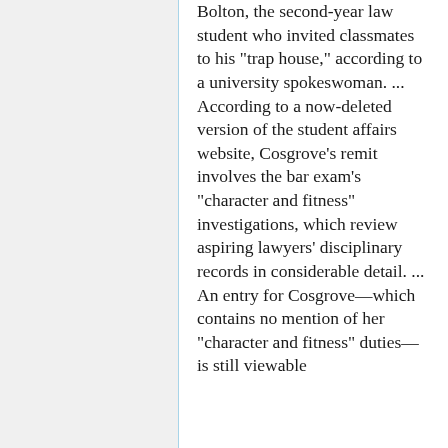Bolton, the second-year law student who invited classmates to his "trap house," according to a university spokeswoman. ... According to a now-deleted version of the student affairs website, Cosgrove's remit involves the bar exam's "character and fitness" investigations, which review aspiring lawyers' disciplinary records in considerable detail. ... An entry for Cosgrove—which contains no mention of her "character and fitness" duties—is still viewable